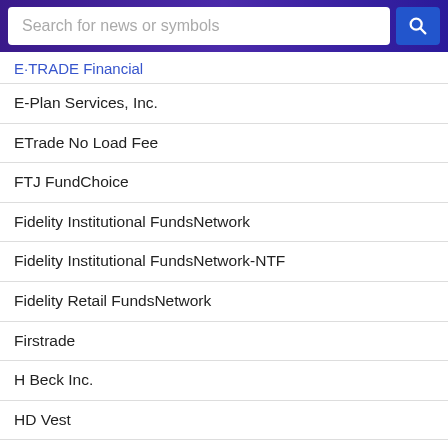[Figure (screenshot): Search bar with placeholder text 'Search for news or symbols' and a blue search button with magnifying glass icon]
E·TRADE Financial
E-Plan Services, Inc.
ETrade No Load Fee
FTJ FundChoice
Fidelity Institutional FundsNetwork
Fidelity Institutional FundsNetwork-NTF
Fidelity Retail FundsNetwork
Firstrade
H Beck Inc.
HD Vest
HD Vest - Vest Advisor
HSBC Brokerage (USA) Inc
ING Financial Advisers - SAS Funds
ING Financial Partners Inc.